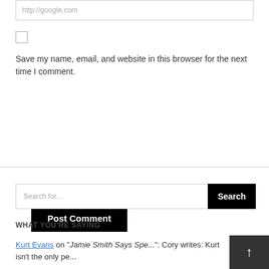http://google.com
Save my name, email, and website in this browser for the next time I comment.
Post Comment
Search for...
WHAT YOU'RE SAYING
Kurt Evans on "Jamie Smith Says Spe...": Cory writes: Kurt isn't the only pe...